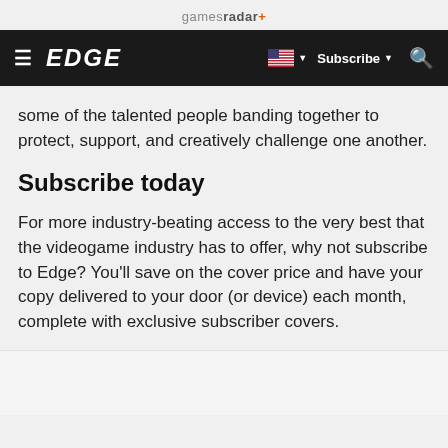gamesradar+
≡ EDGE  🇺🇸 ▼  Subscribe ▼  🔍
some of the talented people banding together to protect, support, and creatively challenge one another.
Subscribe today
For more industry-beating access to the very best that the videogame industry has to offer, why not subscribe to Edge? You'll save on the cover price and have your copy delivered to your door (or device) each month, complete with exclusive subscriber covers.